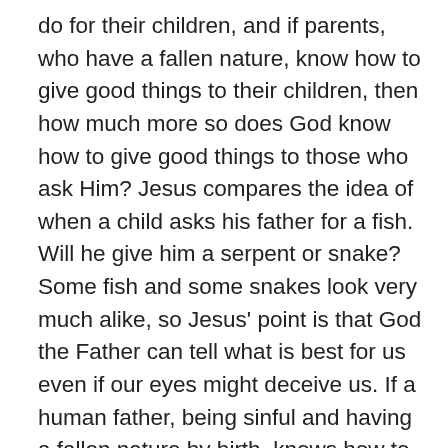do for their children, and if parents, who have a fallen nature, know how to give good things to their children, then how much more so does God know how to give good things to those who ask Him? Jesus compares the idea of when a child asks his father for a fish. Will he give him a serpent or snake? Some fish and some snakes look very much alike, so Jesus' point is that God the Father can tell what is best for us even if our eyes might deceive us. If a human father, being sinful and having a fallen nature by birth, knows how to give good things to his own children, then surely God the Father knows so much more how to give us good things if we ask Him. He gives His Holy Spirit to everyone who repents and trusts in Christ. The Spirit of God gives a person a new nature, and then even an earthly father can discriminate much better between what is good for their children and what isn't and what is good